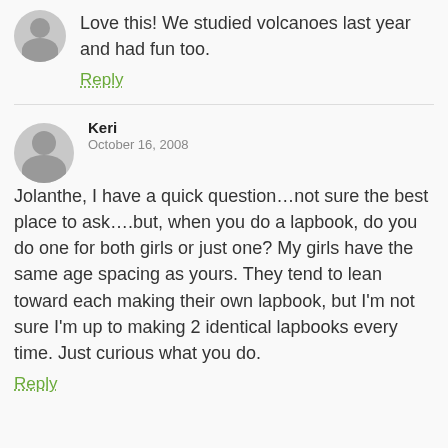Love this! We studied volcanoes last year and had fun too.
Reply
Keri
October 16, 2008
Jolanthe, I have a quick question…not sure the best place to ask….but, when you do a lapbook, do you do one for both girls or just one? My girls have the same age spacing as yours. They tend to lean toward each making their own lapbook, but I'm not sure I'm up to making 2 identical lapbooks every time. Just curious what you do.
Reply